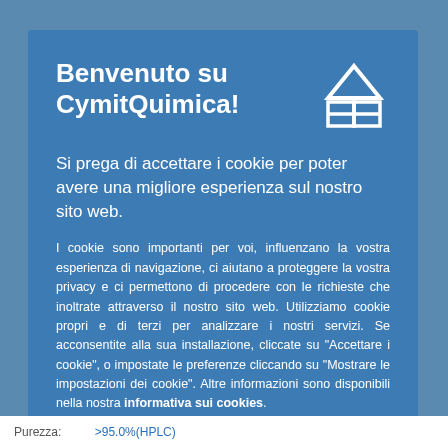Benvenuto su CymitQuimica!
Si prega di accettare i cookie per poter avere una migliore esperienza sul nostro sito web.
I cookie sono importanti per voi, influenzano la vostra esperienza di navigazione, ci aiutano a proteggere la vostra privacy e ci permettono di procedere con le richieste che inoltrate attraverso il nostro sito web. Utilizziamo cookie propri e di terzi per analizzare i nostri servizi. Se acconsentite alla sua installazione, cliccate su "Accettare i cookie", o impostate le preferenze cliccando su "Mostrare le impostazioni dei cookie". Altre informazioni sono disponibili nella nostra informativa sui cookies.
Accettare i cookie
Purezza: >95.0%(HPLC)